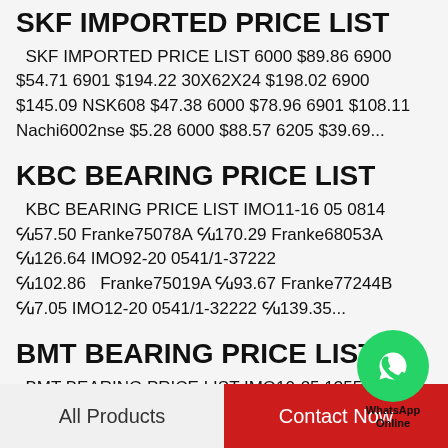SKF IMPORTED PRICE LIST
SKF IMPORTED PRICE LIST 6000 $89.86 6900 $54.71 6901 $194.22 30X62X24 $198.02 6900 $145.09 NSK608 $47.38 6000 $78.96 6901 $108.11 Nachi6002nse $5.28 6000 $88.57 6205 $39.69...
KBC BEARING PRICE LIST
KBC BEARING PRICE LIST IMO11-16 05 0814 ￠57.50 Franke75078A ￠170.29 Franke68053A ￠126.64 IMO92-20 0541/1-37222 ￠102.86 Franke75019A ￠93.67 Franke77244B ￠7.05 IMO12-20 0541/1-32222 ￠139.35...
BMT BEARING PRICE LIST
BMT BEARING PRICE LIST IMO10-25 1355/0-
[Figure (logo): WhatsApp Online button - green circle with phone icon and text WhatsApp Online]
All Products    Contact Now